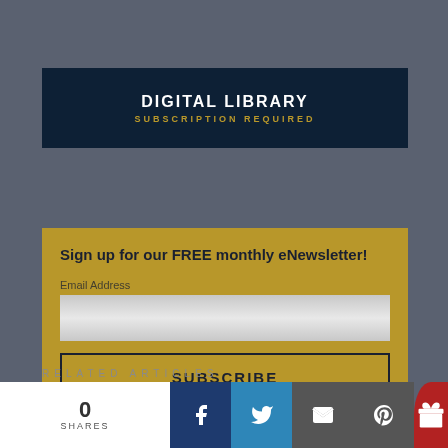DIGITAL LIBRARY
SUBSCRIPTION REQUIRED
Sign up for our FREE monthly eNewsletter!
Email Address
SUBSCRIBE
RELATED ARTICLES
0
SHARES